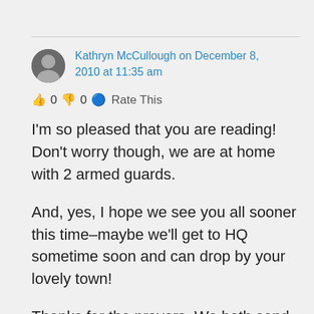Kathryn McCullough on December 8, 2010 at 11:35 am
👍 0 👎 0 ℹ Rate This
I'm so pleased that you are reading! Don't worry though, we are at home with 2 armed guards.
And, yes, I hope we see you all sooner this time–maybe we'll get to HQ sometime soon and can drop by your lovely town!
Thanks for the prayers. We both send our love to everyone there!